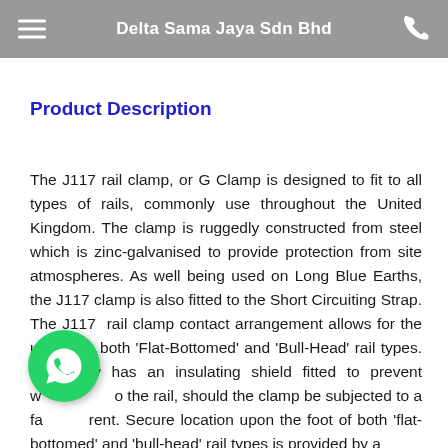Delta Sama Jaya Sdn Bhd
Product Description
The J117 rail clamp, or G Clamp is designed to fit to all types of rails, commonly use throughout the United Kingdom. The clamp is ruggedly constructed from steel which is zinc-galvanised to provide protection from site atmospheres. As well being used on Long Blue Earths, the J117 clamp is also fitted to the Short Circuiting Strap. The J117  rail clamp contact arrangement allows for the use upon both 'Flat-Bottomed' and 'Bull-Head' rail types. The body has an insulating shield fitted to prevent [damage] to the rail, should the clamp be subjected to a fault current. Secure location upon the foot of both 'flat-bottomed' and 'bull-head' rail types is provided by a